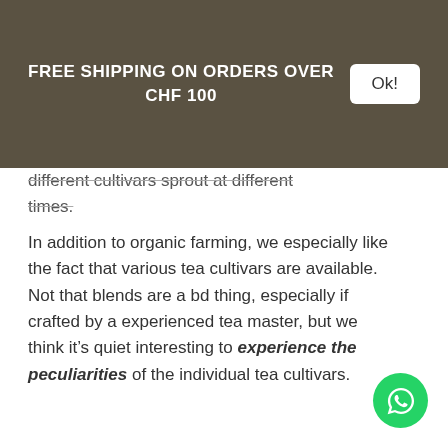FREE SHIPPING ON ORDERS OVER CHF 100
different cultivars sprout at different times.
In addition to organic farming, we especially like the fact that various tea cultivars are available. Not that blends are a bd thing, especially if crafted by a experienced tea master, but we think it’s quiet interesting to experience the peculiarities of the individual tea cultivars.